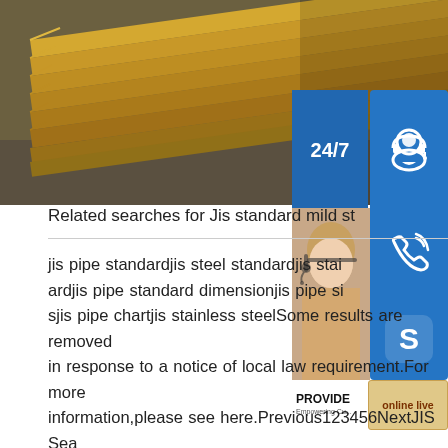[Figure (photo): Stacked steel plates/sheets in a warehouse or industrial setting, yellowish-brown color, stacked diagonally. Overlaid with a customer service panel showing 24/7 support icons (headset, phone, Skype), an agent photo, PROVIDE branding, and an online live button.]
Related searches for Jis standard mild st
jis pipe standardjis steel standardjis stainless steel standardjis pipe standard dimensionjis pipe sizesjis pipe chartjis stainless steelSome results are removed in response to a notice of local law requirement.For more information,please see here.Previous123456NextJIS Seamless Pipes,JIS Seamless Pipe - Sunny SteelJIS G3460. Steel grade:STPL 39,STPL 46,STPL 70 Application Steel